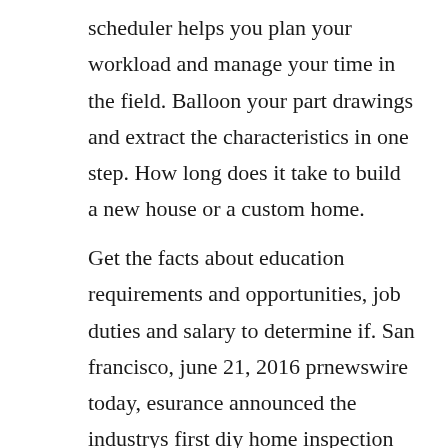scheduler helps you plan your workload and manage your time in the field. Balloon your part drawings and extract the characteristics in one step. How long does it take to build a new house or a custom home.
Get the facts about education requirements and opportunities, job duties and salary to determine if. San francisco, june 21, 2016 prnewswire today, esurance announced the industrys first diy home inspection app, which empowers new esurance homeowners policyholders to easily selfinspect. While not